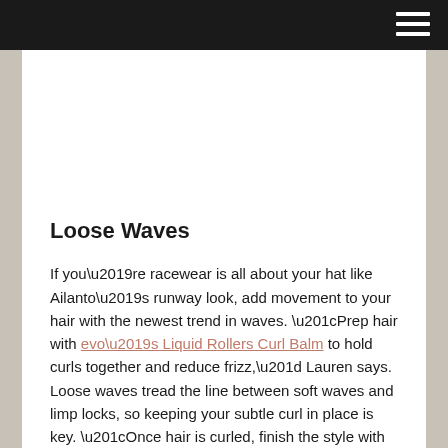Loose Waves
If you’re racewear is all about your hat like Ailanto’s runway look, add movement to your hair with the newest trend in waves. “Prep hair with evo’s Liquid Rollers Curl Balm to hold curls together and reduce frizz,” Lauren says. Loose waves tread the line between soft waves and limp locks, so keeping your subtle curl in place is key. “Once hair is curled, finish the style with evo’s Miss Malleable Flexible